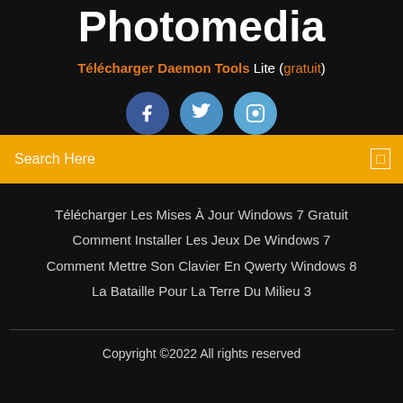Photomedia
Télécharger Daemon Tools Lite (gratuit)
[Figure (illustration): Three circular social media icons: Facebook (dark blue), Twitter (medium blue), Instagram (light blue) with white logos]
Search Here
Télécharger Les Mises À Jour Windows 7 Gratuit
Comment Installer Les Jeux De Windows 7
Comment Mettre Son Clavier En Qwerty Windows 8
La Bataille Pour La Terre Du Milieu 3
Copyright ©2022 All rights reserved